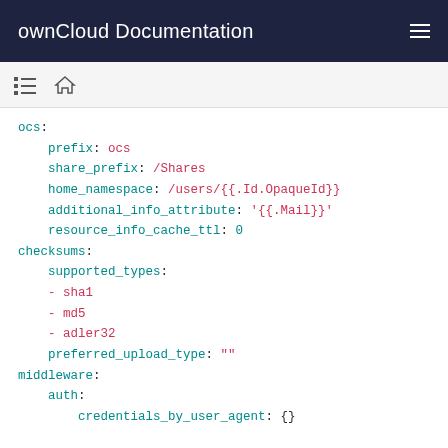ownCloud Documentation
ocs:
  prefix: ocs
  share_prefix: /Shares
  home_namespace: /users/{{.Id.OpaqueId}}
  additional_info_attribute: '{{.Mail}}'
  resource_info_cache_ttl: 0
checksums:
  supported_types:
  - sha1
  - md5
  - adler32
  preferred_upload_type: ""
middleware:
  auth:
    credentials_by_user_agent: {}